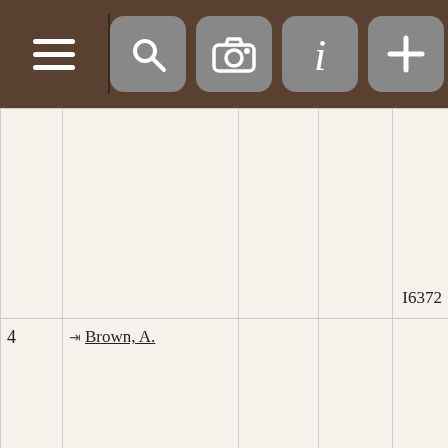[Figure (screenshot): Mobile app top navigation bar with hamburger menu icon on left and four icon buttons (search, camera, info, plus) on right, dark brown background]
| # | Name |  |  | ID |
| --- | --- | --- | --- | --- |
|  |  |  |  | I6372 |
| 4 | Brown, A. |  |  | I6181 |
| 5 | Brown, A.M. |  |  | I2808 |